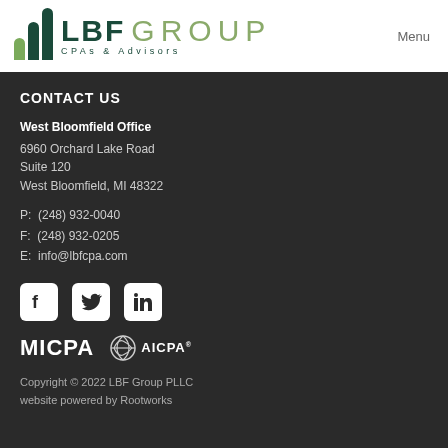[Figure (logo): LBF Group CPAs & Advisors logo with dark green bar chart icon and company name]
Menu
CONTACT US
West Bloomfield Office
6960 Orchard Lake Road
Suite 120
West Bloomfield, MI 48322
P:  (248) 932-0040
F:  (248) 932-0205
E:  info@lbfcpa.com
[Figure (logo): Facebook, Twitter, and LinkedIn social media icons in white squares]
[Figure (logo): MICPA and AICPA association logos]
Copyright © 2022 LBF Group PLLC
website powered by Rootworks